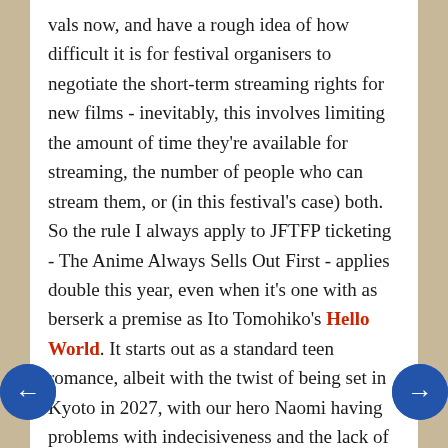vals now, and have a rough idea of how difficult it is for festival organisers to negotiate the short-term streaming rights for new films - inevitably, this involves limiting the amount of time they're available for streaming, the number of people who can stream them, or (in this festival's case) both. So the rule I always apply to JFTFP ticketing - The Anime Always Sells Out First - applies double this year, even when it's one with as berserk a premise as Ito Tomohiko's Hello World. It starts out as a standard teen romance, albeit with the twist of being set in Kyoto in 2027, with our hero Naomi having problems with indecisiveness and the lack of a girlfriend. But then a bloke suddenly appears claiming to be Naomi from ten years in the